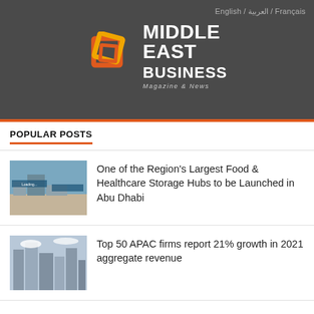English / العربية / Français
[Figure (logo): Middle East Business Magazine & News logo with geometric orange/gold square icon]
POPULAR POSTS
One of the Region's Largest Food & Healthcare Storage Hubs to be Launched in Abu Dhabi
Top 50 APAC firms report 21% growth in 2021 aggregate revenue
Billions of people still breathe